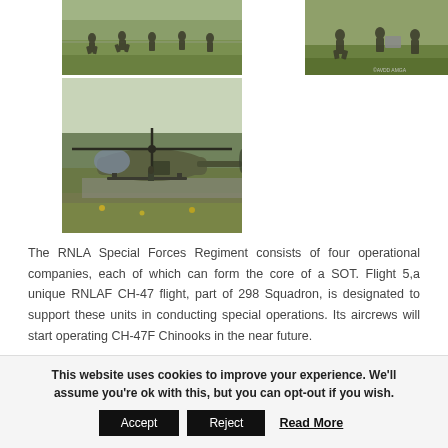[Figure (photo): Soldiers running across a field with green grass and a fence in the background]
[Figure (photo): Soldiers carrying equipment, with watermark AVDD AMGA in bottom right corner]
[Figure (photo): Military helicopter (appears to be a Black Hawk) on a runway/tarmac with soldiers boarding, trees in background]
The RNLA Special Forces Regiment consists of four operational companies, each of which can form the core of a SOT. Flight 5,a unique RNLAF CH-47 flight, part of 298 Squadron, is designated to support these units in conducting special operations. Its aircrews will start operating CH-47F Chinooks in the near future.
This website uses cookies to improve your experience. We'll assume you're ok with this, but you can opt-out if you wish.